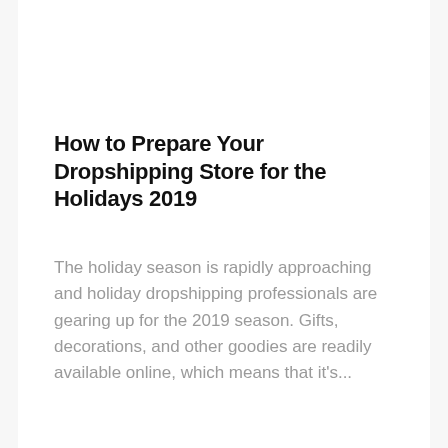How to Prepare Your Dropshipping Store for the Holidays 2019
The holiday season is rapidly approaching and holiday dropshipping professionals are gearing up for the 2019 season. Gifts, decorations, and other goodies are readily available online, which means that it's...